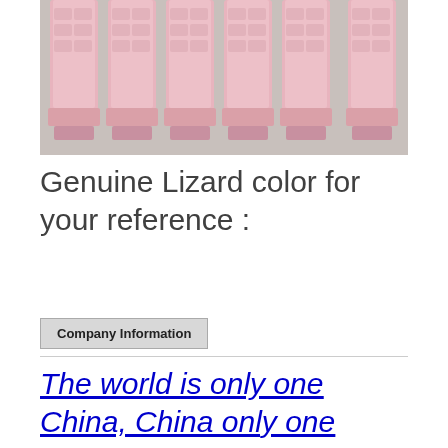[Figure (photo): Six pink/rose-colored crocodile-textured leather watch straps laid side by side on a gray surface, showing the lug ends at the bottom.]
Genuine Lizard color for your reference :
Company Information
The world is only one China, China only one